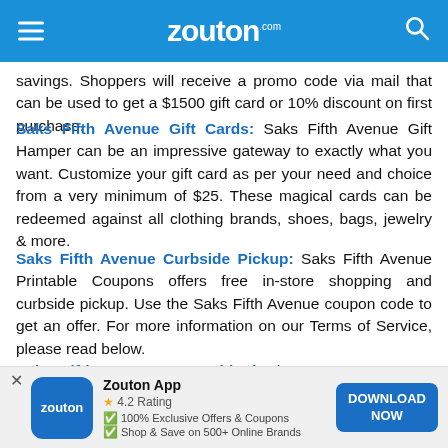zouton.com
savings. Shoppers will receive a promo code via mail that can be used to get a $1500 gift card or 10% discount on first purchase.
Saks Fifth Avenue Gift Cards: Saks Fifth Avenue Gift Hamper can be an impressive gateway to exactly what you want. Customize your gift card as per your need and choice from a very minimum of $25. These magical cards can be redeemed against all clothing brands, shoes, bags, jewelry & more.
Saks Fifth Avenue Curbside Pickup: Saks Fifth Avenue Printable Coupons offers free in-store shopping and curbside pickup. Use the Saks Fifth Avenue coupon code to get an offer. For more information on our Terms of Service, please read below.
Saks Fifth Avenue Free Shipping/Return: Once you’re done filling your shopping cart with favorites, activate the Saks Fifth Avenue Free Shipping Coupon to reduce your total bill. There is no shipping charge for standard shipping of your order, that too without any user restrictions or minimum purchase value. Also,
[Figure (screenshot): Zouton app download banner with app icon, 4.2 rating, features list, and Download Now button]